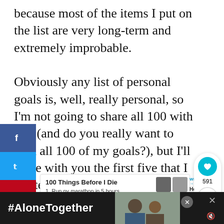because most of the items I put on the list are very long-term and extremely improbable.

Obviously any list of personal goals is, well, really personal, so I'm not going to share all 100 with you (and do you really want to read all 100 of my goals?), but I'll share with you the first five that I wrote on that night in 2011 when I was a single mom struggling to make ends meet.
[Figure (screenshot): Social share sidebar with Facebook (blue), Twitter (light blue), and Pinterest (red) buttons on the left side of the page]
[Figure (infographic): Heart/like widget showing a teal heart icon and count of 591, with a share icon below]
[Figure (screenshot): Embedded list widget showing '100 Things Before I Die' with items: 1. Run ny marathon in 5 hours, 2. Run the Boston marathon, with a thumbnail image and 'WHAT'S NEXT → How to Create a Powerful...' on the right]
[Figure (infographic): Dark advertisement bar at bottom showing '#AloneTogether' text on black background with a photo of two people and close/mute buttons]